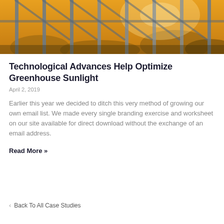[Figure (photo): A close-up photo of greenhouse metal bars/framing against warm golden-yellow sunlight with foliage visible in the background]
Technological Advances Help Optimize Greenhouse Sunlight
April 2, 2019
Earlier this year we decided to ditch this very method of growing our own email list. We made every single branding exercise and worksheet on our site available for direct download without the exchange of an email address.
Read More »
< Back To All Case Studies